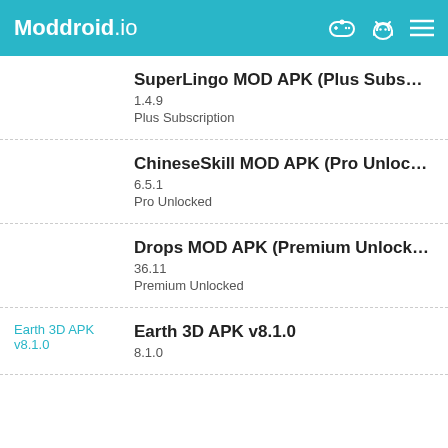Moddroid.io
SuperLingo MOD APK (Plus Subscriptio... 1.4.9 Plus Subscription
ChineseSkill MOD APK (Pro Unlocked) v... 6.5.1 Pro Unlocked
Drops MOD APK (Premium Unlocked) v3... 36.11 Premium Unlocked
Earth 3D APK v8.1.0 8.1.0